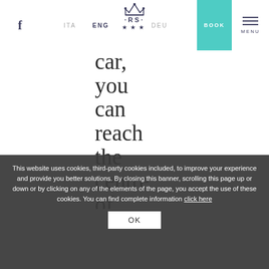f  ITA  ENG  RS  DEU  BOOK  MENU
car, you can reach the centre of Cagliari with the that links
This website uses cookies, third-party cookies included, to improve your experience and provide you better solutions. By closing this banner, scrolling this page up or down or by clicking on any of the elements of the page, you accept the use of these cookies. You can find complete information click here
OK